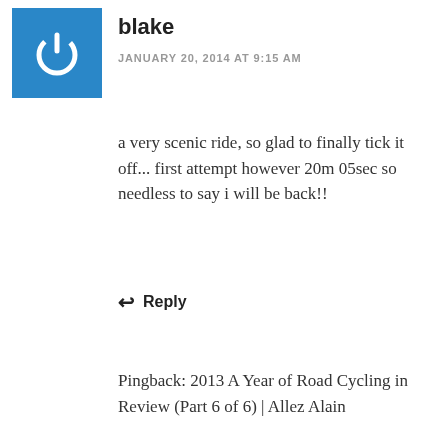[Figure (logo): Blue square avatar with white power button icon]
blake
JANUARY 20, 2014 AT 9:15 AM
a very scenic ride, so glad to finally tick it off... first attempt however 20m 05sec so needless to say i will be back!!
↩ Reply
Pingback: 2013 A Year of Road Cycling in Review (Part 6 of 6) | Allez Alain
Pingback: Vuelta Skelta Strava challenge: the wrap-up | Cycling Tips